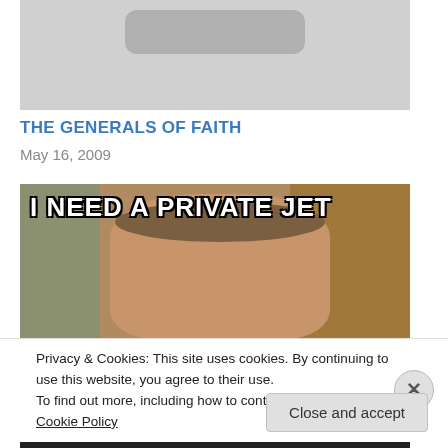[Figure (photo): Top portion of a blog post thumbnail image, showing a gray rectangle with a rounded gray shape at the top center]
THE GENERALS OF FAITH
May 16, 2009
[Figure (photo): Meme image of a smiling man pointing upward with text 'I NEED A PRIVATE JET' in bold white Impact font with black outline]
Privacy & Cookies: This site uses cookies. By continuing to use this website, you agree to their use.
To find out more, including how to control cookies, see here: Cookie Policy